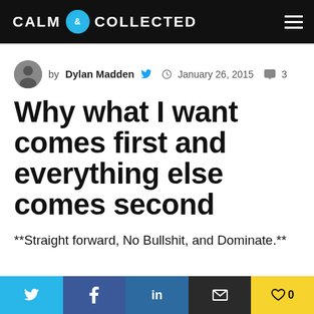CALM & COLLECTED
by Dylan Madden   January 26, 2015   3
Why what I want comes first and everything else comes second
**Straight forward, No Bullshit, and Dominate.**